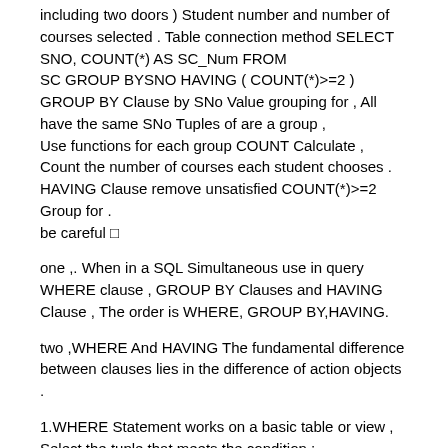including two doors ) Student number and number of courses selected . Table connection method SELECT SNO, COUNT(*) AS SC_Num FROM SC GROUP BYSNO HAVING ( COUNT(*)>=2 ) GROUP BY Clause by SNo Value grouping for , All have the same SNo Tuples of are a group , Use functions for each group COUNT Calculate , Count the number of courses each student chooses . HAVING Clause remove unsatisfied COUNT(*)>=2 Group for . be careful □
one ,. When in a SQL Simultaneous use in query WHERE clause , GROUP BY Clauses and HAVING Clause , The order is WHERE, GROUP BY,HAVING.
two ,WHERE And HAVING The fundamental difference between clauses lies in the difference of action objects .
1.WHERE Statement works on a basic table or view , Select the tuple that meets the condition ; 2.HAVING Clause to act on a group , Select a group that meets the criteria , Must be used in GROUP BY After Clause , but GROUP BY Clause may not HAVING clause